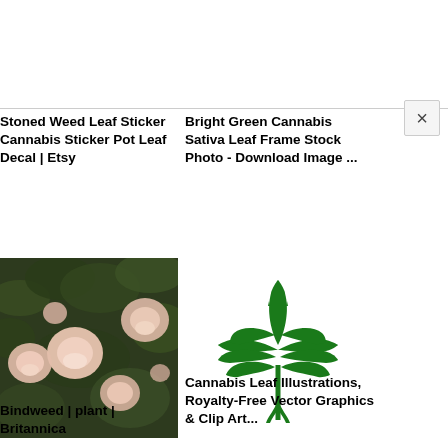[Figure (screenshot): Top white area of a search results page with a close (X) button at right]
Stoned Weed Leaf Sticker Cannabis Sticker Pot Leaf Decal | Etsy
Bright Green Cannabis Sativa Leaf Frame Stock Photo - Download Image ...
[Figure (photo): Photo of bindweed plant with pink/white flowers and dark foliage background]
[Figure (illustration): Green cannabis leaf illustration on white background]
Bindweed | plant | Britannica
Cannabis Leaf Illustrations, Royalty-Free Vector Graphics & Clip Art...